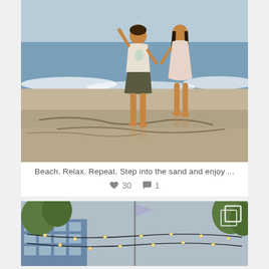[Figure (photo): Two children standing at the ocean's edge on a beach, viewed from behind. A boy in a white t-shirt with surf print and dark shorts raises one arm, and a girl in a light pink dress stands beside him. Waves wash up on wet sand with seaweed/driftwood visible.]
Beach. Relax. Repeat. Step into the sand and enjoy ...
♥ 30  💬 1
[Figure (photo): Looking up at string lights strung between poles against a cloudy sky, with green trees on either side and a blue multi-story building visible on the left. A flag waves on a tall pole in the center. A multi-image icon overlay is visible in the top-right corner.]